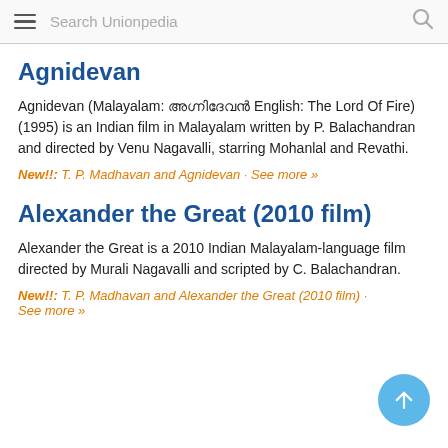Search Unionpedia
Agnidevan
Agnidevan (Malayalam: അഗ്നിദേവൻ English: The Lord Of Fire) (1995) is an Indian film in Malayalam written by P. Balachandran and directed by Venu Nagavalli, starring Mohanlal and Revathi.
New!!: T. P. Madhavan and Agnidevan · See more »
Alexander the Great (2010 film)
Alexander the Great is a 2010 Indian Malayalam-language film directed by Murali Nagavalli and scripted by C. Balacharan.
New!!: T. P. Madhavan and Alexander the Great (2010 film) · See more »